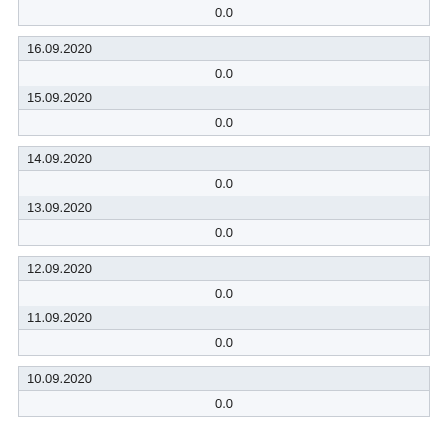| 17.09.2020 |
| --- |
| 0.0 |
| 16.09.2020 |
| --- |
| 0.0 |
| 15.09.2020 |
| --- |
| 0.0 |
| 14.09.2020 |
| --- |
| 0.0 |
| 13.09.2020 |
| --- |
| 0.0 |
| 12.09.2020 |
| --- |
| 0.0 |
| 11.09.2020 |
| --- |
| 0.0 |
| 10.09.2020 |
| --- |
| 0.0 |